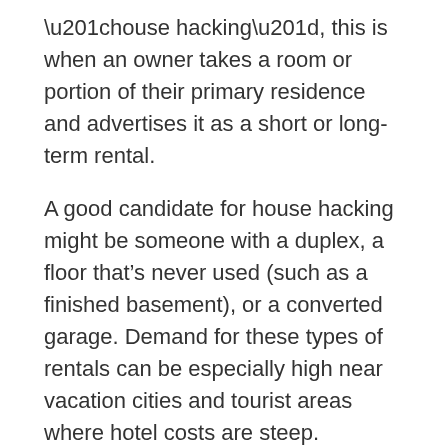“house hacking”, this is when an owner takes a room or portion of their primary residence and advertises it as a short or long-term rental.
A good candidate for house hacking might be someone with a duplex, a floor that’s never used (such as a finished basement), or a converted garage. Demand for these types of rentals can be especially high near vacation cities and tourist areas where hotel costs are steep.
The major advantage of this strategy is that there’s virtually no up-front investment. Since it’s the owner’s primary residence, they don’t have to research and acquire a whole separate property. Also, the rental income can help the owner to pay their own mortgage and build up